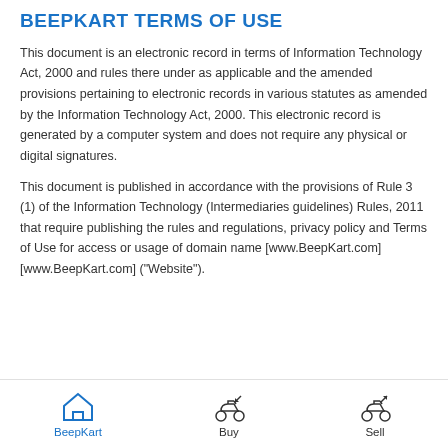BEEPKART TERMS OF USE
This document is an electronic record in terms of Information Technology Act, 2000 and rules there under as applicable and the amended provisions pertaining to electronic records in various statutes as amended by the Information Technology Act, 2000. This electronic record is generated by a computer system and does not require any physical or digital signatures.
This document is published in accordance with the provisions of Rule 3 (1) of the Information Technology (Intermediaries guidelines) Rules, 2011 that require publishing the rules and regulations, privacy policy and Terms of Use for access or usage of domain name [www.BeepKart.com][www.BeepKart.com] ("Website").
BeepKart  Buy  Sell